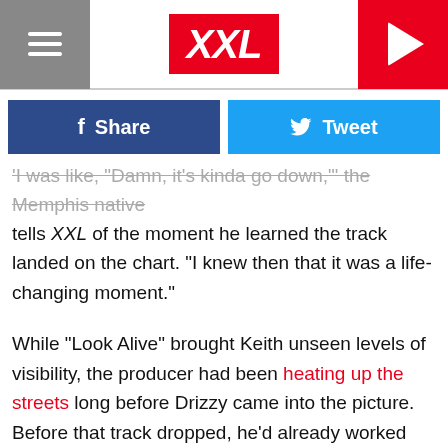XXL
Share   Tweet
'I was like, "Damn, it's kinda go down,"' the Memphis native tells XXL of the moment he learned the track landed on the chart. "I knew then that it was a life-changing moment."
While "Look Alive" brought Keith unseen levels of visibility, the producer had been heating up the streets long before Drizzy came into the picture. Before that track dropped, he'd already worked with different generations of Grind City talent, producing for the likes of Juicy J ("Broke Niggaz"), Moneybagg Yo and Yo Gotti ("Gang Gang") and Key Glock